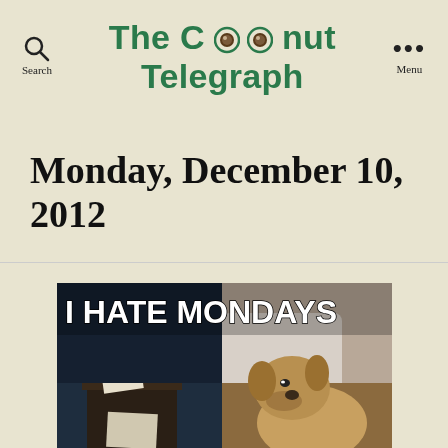The Coconut Telegraph
Monday, December 10, 2012
[Figure (photo): Meme image of a bulldog lying in bed with text 'I HATE MONDAYS' overlaid in white bold font]